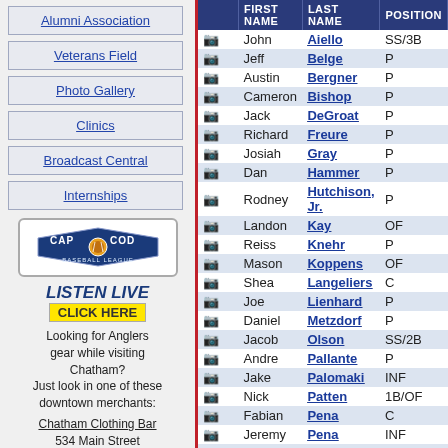Alumni Association
Veterans Field
Photo Gallery
Clinics
Broadcast Central
Internships
[Figure (logo): Cape Cod Baseball League logo with text and sunburst emblem]
LISTEN LIVE CLICK HERE
Looking for Anglers gear while visiting Chatham? Just look in one of these downtown merchants:
Chatham Clothing Bar 534 Main Street
|  | FIRST NAME | LAST NAME | POSITION |
| --- | --- | --- | --- |
| 📷 | John | Aiello | SS/3B |
| 📷 | Jeff | Belge | P |
| 📷 | Austin | Bergner | P |
| 📷 | Cameron | Bishop | P |
| 📷 | Jack | DeGroat | P |
| 📷 | Richard | Freure | P |
| 📷 | Josiah | Gray | P |
| 📷 | Dan | Hammer | P |
| 📷 | Rodney | Hutchison, Jr. | P |
| 📷 | Landon | Kay | OF |
| 📷 | Reiss | Knehr | P |
| 📷 | Mason | Koppens | OF |
| 📷 | Shea | Langeliers | C |
| 📷 | Joe | Lienhard | P |
| 📷 | Daniel | Metzdorf | P |
| 📷 | Jacob | Olson | SS/2B |
| 📷 | Andre | Pallante | P |
| 📷 | Jake | Palomaki | INF |
| 📷 | Nick | Patten | 1B/OF |
| 📷 | Fabian | Pena | C |
| 📷 | Jeremy | Pena | INF |
| 📷 | Jack | Perkins | P |
| 📷 | Antonio | Ralat | SS/3B |